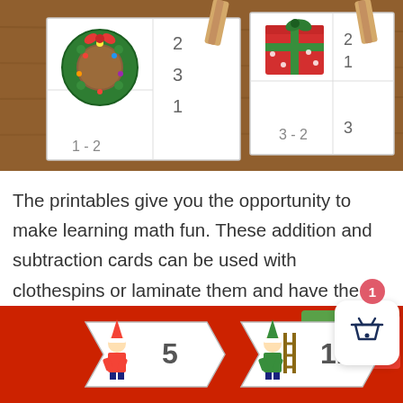[Figure (photo): Photo of Christmas-themed math clothespin cards on a wooden surface. Left card shows a wreath with numbers 2, 3, 1 and equation. Right card shows a gift box with numbers and 3-2 equation. Wooden clothespins are clipped on top.]
The printables give you the opportunity to make learning math fun. These addition and subtraction cards can be used with clothespins or laminate them and have the child use a dry erase marker to circle the correct answer and then they can be reused.
[Figure (photo): Photo of Christmas-themed puzzle arrow cards on red background. Two elf figures on cards showing numbers 5 and 11. Shopping basket button overlay with badge showing 1.]